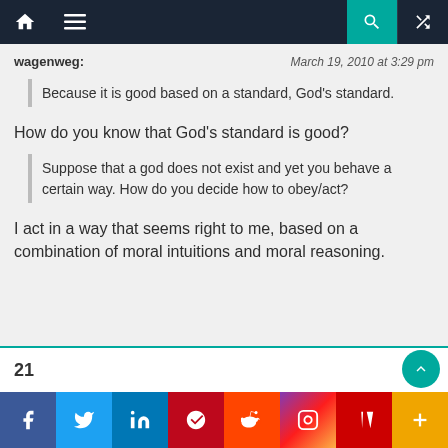Navigation bar with home, menu, search, shuffle icons
wagenweg:
March 19, 2010 at 3:29 pm
Because it is good based on a standard, God's standard.
How do you know that God's standard is good?
Suppose that a god does not exist and yet you behave a certain way. How do you decide how to obey/act?
I act in a way that seems right to me, based on a combination of moral intuitions and moral reasoning.
21
Social share bar: Facebook, Twitter, LinkedIn, Pinterest, Reddit, Instagram, Flipboard, More